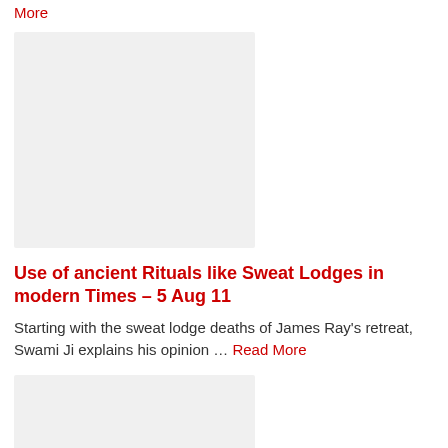More
[Figure (photo): Placeholder image (light grey rectangle)]
Use of ancient Rituals like Sweat Lodges in modern Times – 5 Aug 11
Starting with the sweat lodge deaths of James Ray's retreat, Swami Ji explains his opinion … Read More
[Figure (photo): Placeholder image (light grey rectangle)]
Unknown Enemy publishes fake Experience and Stories about us – 29 Jul 11